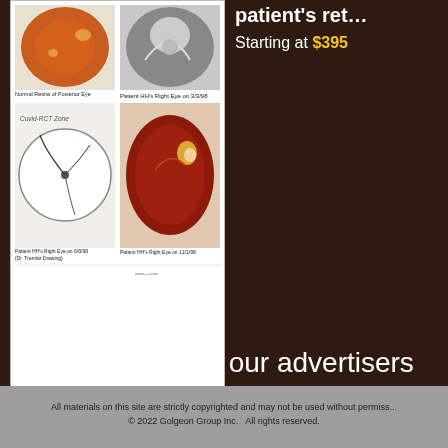[Figure (photo): Composite medical image showing retinal photographs: Normal Retina of Posterior Eye (top left), Patient HH's Right Eye on 3/3/98 (top right), Patient HH's Right Eye on 6/8/98 Dr. Tremlar Drawing (bottom left, a diagram drawing), Patient HH's Right Eye on 11/1/98 (bottom right)]
patient's ret...
Starting at $395
Please click on our advertisers below to help this site.
All materials on this site are strictly copyrighted and may not be used without permiss... © 2022 Golgeon Group Inc.   All rights reserved.